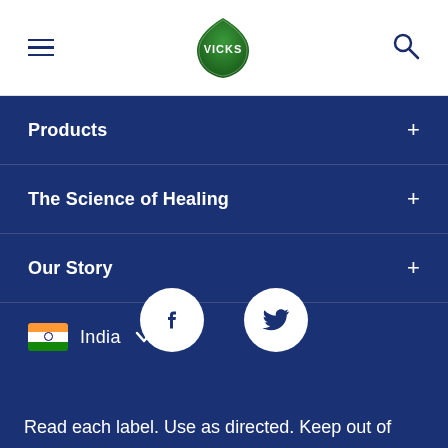VICKS (logo) — navigation header with hamburger menu and search icon
Products +
The Science of Healing +
Our Story +
India (dropdown)
[Figure (illustration): Facebook and Twitter social media icon buttons (white circles on dark blue background)]
Read each label. Use as directed. Keep out of